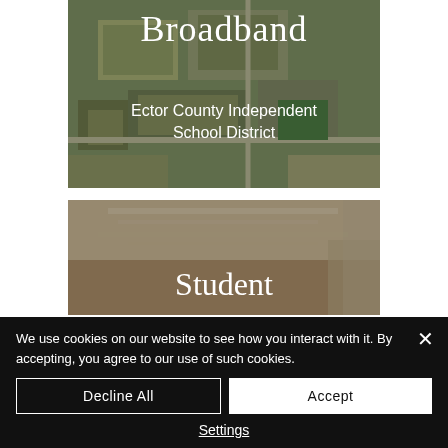[Figure (photo): Aerial view of Ector County Independent School District campus with text overlay reading 'Broadband' and 'Ector County Independent School District']
[Figure (photo): Indoor hallway or classroom ceiling interior photo with text overlay reading 'Student']
We use cookies on our website to see how you interact with it. By accepting, you agree to our use of such cookies.
Decline All
Accept
Settings